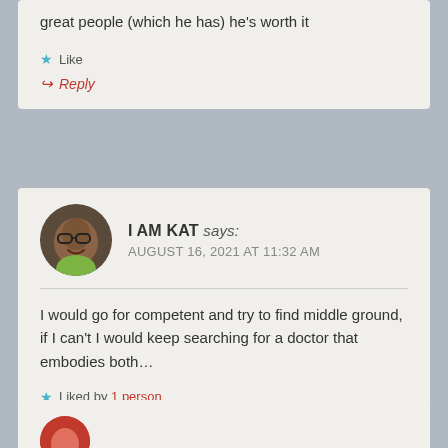great people (which he has) he's worth it
Like
Reply
I AM KAT says:
AUGUST 16, 2021 AT 11:32 AM
I would go for competent and try to find middle ground, if I can't I would keep searching for a doctor that embodies both…
Liked by 1 person
Reply